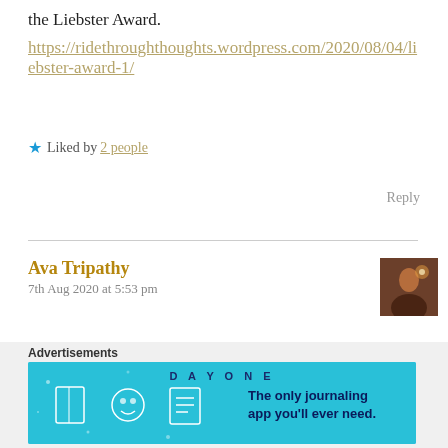the Liebster Award.
https://ridethroughthoughts.wordpress.com/2020/08/04/liebster-award-1/
★ Liked by 2 people
Reply
Ava Tripathy
7th Aug 2020 at 5:53 pm
[Figure (photo): Avatar image of Ava Tripathy showing a dark silhouette figure against a warm background]
Thank you so much truly means a lot
★ Liked by 1 person
Advertisements
[Figure (screenshot): Day One journaling app advertisement banner with blue background showing app icons and text: The only journaling app you'll ever need.]